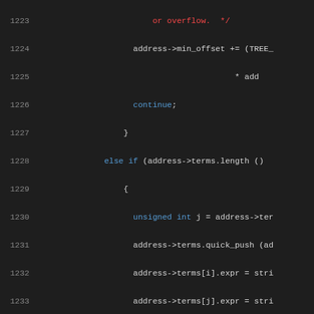[Figure (screenshot): Source code listing lines 1223-1243 showing C code with syntax highlighting on dark background. Code involves address terms manipulation, continue statements, else if conditions, and MULT_EXPR handling with gimple_assign functions.]